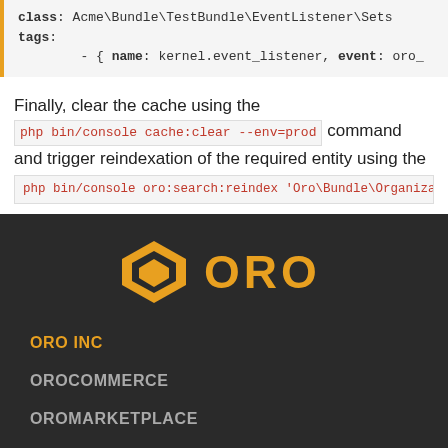[Figure (screenshot): Code block showing YAML configuration with class Acme\Bundle\TestBundle\EventListener\Sets, tags: with name: kernel.event_listener, event: oro_]
Finally, clear the cache using the php bin/console cache:clear --env=prod command and trigger reindexation of the required entity using the php bin/console oro:search:reindex 'Oro\Bundle\OrganizationBundle\En... command.
[Figure (logo): ORO logo in gold color with diamond/shield icon on dark background footer]
ORO INC
OROCOMMERCE
OROMARKETPLACE